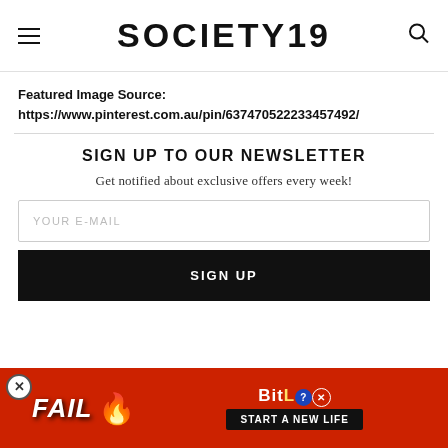SOCIETY19
Featured Image Source: https://www.pinterest.com.au/pin/637470522233457492/
SIGN UP TO OUR NEWSLETTER
Get notified about exclusive offers every week!
YOUR E-MAIL
SIGN UP
[Figure (screenshot): Advertisement banner for BitLife game showing FAIL text, cartoon character, fire graphics, and START A NEW LIFE button]